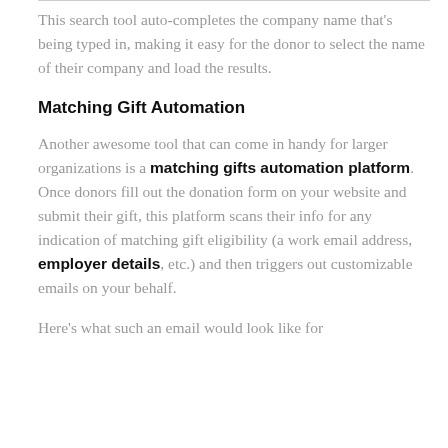This search tool auto-completes the company name that's being typed in, making it easy for the donor to select the name of their company and load the results.
Matching Gift Automation
Another awesome tool that can come in handy for larger organizations is a matching gifts automation platform. Once donors fill out the donation form on your website and submit their gift, this platform scans their info for any indication of matching gift eligibility (a work email address, employer details, etc.) and then triggers out customizable emails on your behalf.
Here's what such an email would look like for